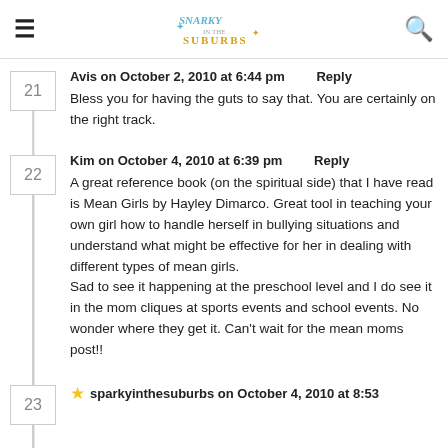≡  Snarky in the Suburbs  🔍
21  Avis on October 2, 2010 at 6:44 pm  Reply
Bless you for having the guts to say that. You are certainly on the right track.
22  Kim on October 4, 2010 at 6:39 pm  Reply
A great reference book (on the spiritual side) that I have read is Mean Girls by Hayley Dimarco. Great tool in teaching your own girl how to handle herself in bullying situations and understand what might be effective for her in dealing with different types of mean girls.
Sad to see it happening at the preschool level and I do see it in the mom cliques at sports events and school events. No wonder where they get it. Can't wait for the mean moms post!!
23  ★ sparkyinthesuburbs on October 4, 2010 at 8:53